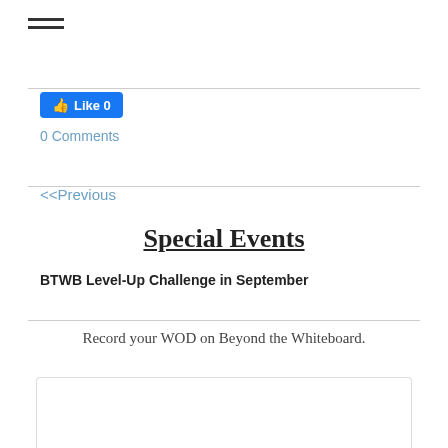[Figure (other): Hamburger menu icon (three horizontal lines)]
[Figure (screenshot): Facebook Like button showing thumbs up icon and '0']
0 Comments
<<Previous
Special Events
BTWB Level-Up Challenge in September
Record your WOD on Beyond the Whiteboard.
[Figure (screenshot): Comment section showing avatar photo and commenter name 'Colter Ellis' with a red flag/indicator]
Colter Ellis